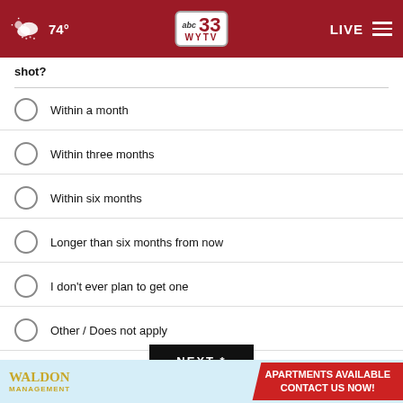74° | abc 33 WYTV | LIVE
shot?
Within a month
Within three months
Within six months
Longer than six months from now
I don't ever plan to get one
Other / Does not apply
NEXT *
* By clicking "NEXT" you agree to the following: We use cookies to track your survey answers. If you would like to continue with this survey, please read and agree to the CivicScience Privacy Policy and Terms of Use
[Figure (other): Waldon Management apartments available advertisement banner]